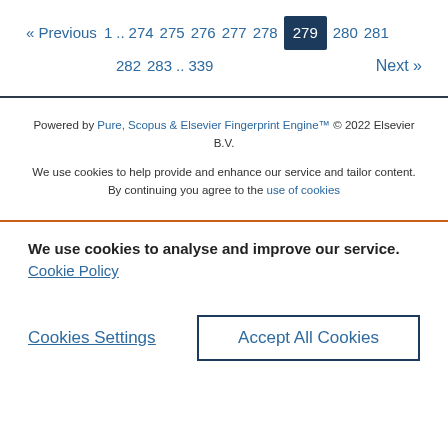« Previous  1 .. 274  275  276  277  278  279  280  281  282  283 .. 339  Next »
Powered by Pure, Scopus & Elsevier Fingerprint Engine™ © 2022 Elsevier B.V.
We use cookies to help provide and enhance our service and tailor content. By continuing you agree to the use of cookies
We use cookies to analyse and improve our service. Cookie Policy
Cookies Settings
Accept All Cookies